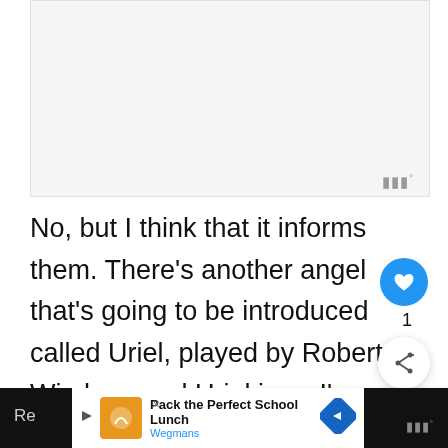[Figure (other): Advertisement placeholder area, light gray background]
No, but I think that it informs them. There's another angel that's going to be introduced called Uriel, played by Robert Wisdom, and Uriel is — I'm more of the conflicted angel, I have more pity for humanity than U... Uriel has more of that smite and destroy,
[Figure (other): UI overlay elements: like button (blue circle with heart), share button, what's next panel with thumbnail and text 'WHAT'S NEXT → Exclusive Interview wit...']
[Figure (other): Footer advertisement banner: Pack the Perfect School Lunch - Wegmans, with navigation arrow icon. Dark footer bar with play controls and mute icon.]